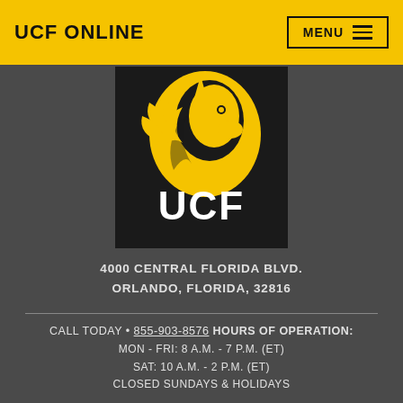UCF ONLINE
[Figure (logo): UCF logo: black square background with golden Pegasus (knight) mascot on top half and white bold text 'UCF' on bottom half]
4000 CENTRAL FLORIDA BLVD.
ORLANDO, FLORIDA, 32816
CALL TODAY • 855-903-8576 HOURS OF OPERATION:
MON - FRI: 8 A.M. - 7 P.M. (ET)
SAT: 10 A.M. - 2 P.M. (ET)
CLOSED SUNDAYS & HOLIDAYS